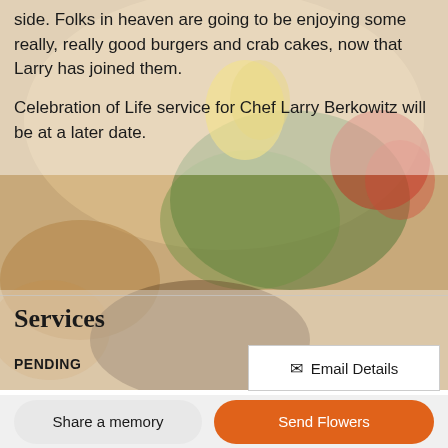side. Folks in heaven are going to be enjoying some really, really good burgers and crab cakes, now that Larry has joined them.
Celebration of Life service for Chef Larry Berkowitz will be at a later date.
Services
PENDING
Email Details
Share a memory
Send Flowers